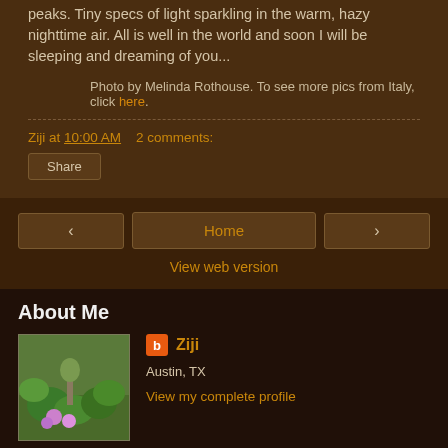peaks. Tiny specs of light sparkling in the warm, hazy nighttime air. All is well in the world and soon I will be sleeping and dreaming of you...
Photo by Melinda Rothouse. To see more pics from Italy, click here.
Ziji at 10:00 AM    2 comments:
Share
Home
View web version
About Me
Ziji
Austin, TX
View my complete profile
Powered by Blogger.